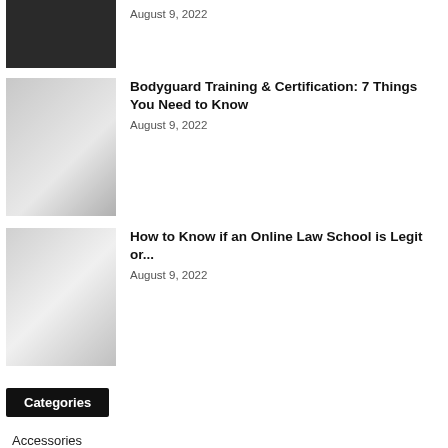[Figure (photo): Dark silhouette photo (partial, top of page)]
August 9, 2022
[Figure (photo): Man in suit (bodyguard) standing in front of a black car]
Bodyguard Training & Certification: 7 Things You Need to Know
August 9, 2022
[Figure (photo): Woman in glasses reading a book, law-related scene]
How to Know if an Online Law School is Legit or...
August 9, 2022
Categories
Accessories
Animals
Art
Beauty
Betting